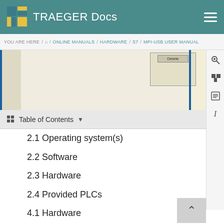TRAEGER Docs
YOU ARE HERE / HOME / ONLINE MANUALS / HARDWARE / S7 / MPI-USB USER MANUAL
[Figure (screenshot): Partial screenshot of a software dialog or UI panel with a dialog box showing 'Delete' button area, bordered by blue vertical lines]
Table of Contents
2.1 Operating system(s)
2.2 Software
2.3 Hardware
2.4 Provided PLCs
4.1 Hardware
4.2 Software
4.3 USB-driver-installation for 32-bit-systems
4.4 USB-driver-installation for Win7 64-bit
5.1 Keys
5.2 Display